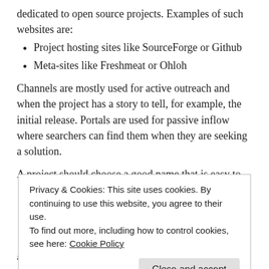dedicated to open source projects. Examples of such websites are:
Project hosting sites like SourceForge or Github
Meta-sites like Freshmeat or Ohloh
Channels are mostly used for active outreach and when the project has a story to tell, for example, the initial release. Portals are used for passive inflow where searchers can find them when they are seeking a solution.
A project should choose a good name that is easy to
Privacy & Cookies: This site uses cookies. By continuing to use this website, you agree to their use.
To find out more, including how to control cookies, see here: Cookie Policy
above, need to utilized repeatedly, consistently and